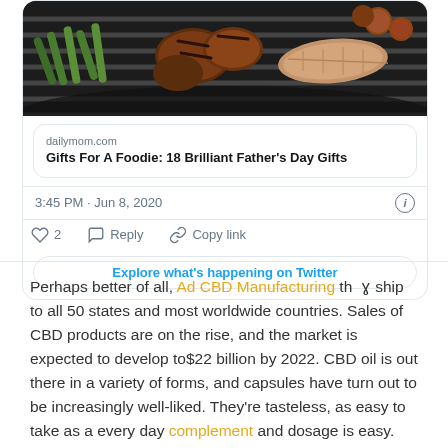[Figure (screenshot): Twitter/X tweet card showing a grill photo with meat and green beans, a link preview to dailymom.com article 'Gifts For A Foodie: 18 Brilliant Father's Day Gifts', timestamp 3:45 PM · Jun 8, 2020, like (2), reply, copy link actions, and 'Explore what's happening on Twitter' button]
Perhaps better of all, Ad CBD Manufacturing they ship to all 50 states and most worldwide countries. Sales of CBD products are on the rise, and the market is expected to develop to$22 billion by 2022. CBD oil is out there in a variety of forms, and capsules have turn out to be increasingly well-liked. They're tasteless, as easy to take as a every day complement and dosage is easy.